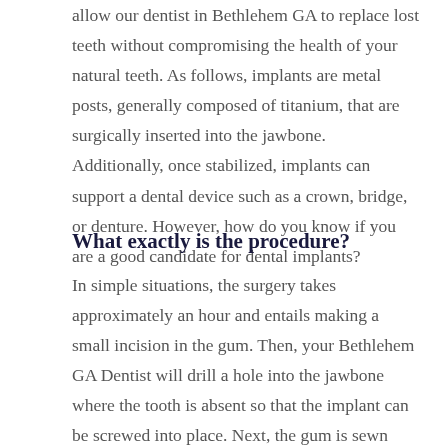allow our dentist in Bethlehem GA to replace lost teeth without compromising the health of your natural teeth. As follows, implants are metal posts, generally composed of titanium, that are surgically inserted into the jawbone. Additionally, once stabilized, implants can support a dental device such as a crown, bridge, or denture. However, how do you know if you are a good candidate for dental implants?
What exactly is the procedure?
In simple situations, the surgery takes approximately an hour and entails making a small incision in the gum. Then, your Bethlehem GA Dentist will drill a hole into the jawbone where the tooth is absent so that the implant can be screwed into place. Next, the gum is sewn back together and the implant is left to set for several weeks.